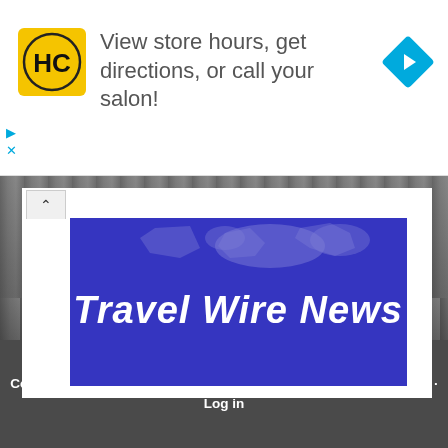[Figure (screenshot): Advertisement banner: HC logo (yellow background, black HC letters), text 'View store hours, get directions, or call your salon!', blue navigation diamond arrow icon on right. Play and X control icons on left.]
[Figure (logo): Travel Wire News logo: white bold text 'Travel Wire News' on blue background with faint world map outline at top.]
[Figure (photo): Grayscale aerial cityscape/skyline background photo behind the main content area.]
Copyright © 2022 · Metro Pro on Genesis Framework · WordPress · Log in